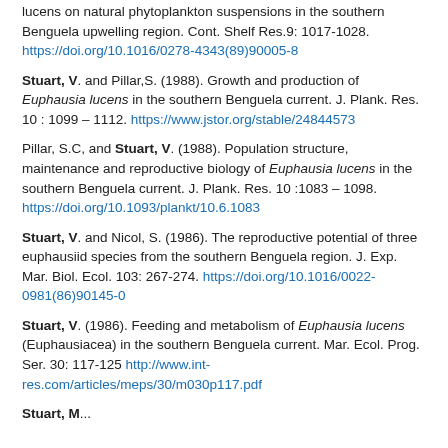lucens on natural phytoplankton suspensions in the southern Benguela upwelling region. Cont. Shelf Res.9: 1017-1028. https://doi.org/10.1016/0278-4343(89)90005-8
Stuart, V. and Pillar,S. (1988). Growth and production of Euphausia lucens in the southern Benguela current. J. Plank. Res. 10 : 1099 – 1112. https://www.jstor.org/stable/24844573
Pillar, S.C, and Stuart, V. (1988). Population structure, maintenance and reproductive biology of Euphausia lucens in the southern Benguela current. J. Plank. Res. 10 :1083 – 1098. https://doi.org/10.1093/plankt/10.6.1083
Stuart, V. and Nicol, S. (1986). The reproductive potential of three euphausiid species from the southern Benguela region. J. Exp. Mar. Biol. Ecol. 103: 267-274. https://doi.org/10.1016/0022-0981(86)90145-0
Stuart, V. (1986). Feeding and metabolism of Euphausia lucens (Euphausiacea) in the southern Benguela current. Mar. Ecol. Prog. Ser. 30: 117-125 http://www.int-res.com/articles/meps/30/m030p117.pdf
Stuart, M. ... (partial, cut off at bottom)